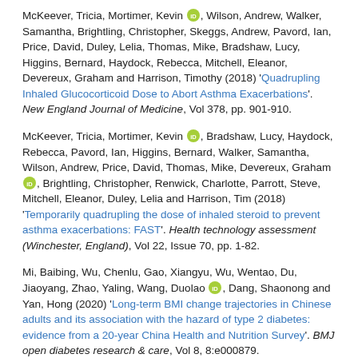McKeever, Tricia, Mortimer, Kevin [ORCID], Wilson, Andrew, Walker, Samantha, Brightling, Christopher, Skeggs, Andrew, Pavord, Ian, Price, David, Duley, Lelia, Thomas, Mike, Bradshaw, Lucy, Higgins, Bernard, Haydock, Rebecca, Mitchell, Eleanor, Devereux, Graham and Harrison, Timothy (2018) 'Quadrupling Inhaled Glucocorticoid Dose to Abort Asthma Exacerbations'. New England Journal of Medicine, Vol 378, pp. 901-910.
McKeever, Tricia, Mortimer, Kevin [ORCID], Bradshaw, Lucy, Haydock, Rebecca, Pavord, Ian, Higgins, Bernard, Walker, Samantha, Wilson, Andrew, Price, David, Thomas, Mike, Devereux, Graham [ORCID], Brightling, Christopher, Renwick, Charlotte, Parrott, Steve, Mitchell, Eleanor, Duley, Lelia and Harrison, Tim (2018) 'Temporarily quadrupling the dose of inhaled steroid to prevent asthma exacerbations: FAST'. Health technology assessment (Winchester, England), Vol 22, Issue 70, pp. 1-82.
Mi, Baibing, Wu, Chenlu, Gao, Xiangyu, Wu, Wentao, Du, Jiaoyang, Zhao, Yaling, Wang, Duolao [ORCID], Dang, Shaonong and Yan, Hong (2020) 'Long-term BMI change trajectories in Chinese adults and its association with the hazard of type 2 diabetes: evidence from a 20-year China Health and Nutrition Survey'. BMJ open diabetes research & care, Vol 8, 8:e000879.